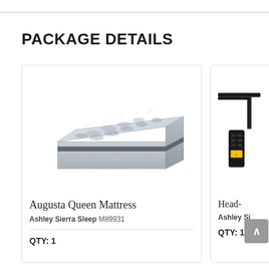PACKAGE DETAILS
[Figure (photo): Augusta Queen Mattress product photo - white/grey pillow-top mattress on white background]
Augusta Queen Mattress
Ashley Sierra Sleep M89931
QTY: 1
[Figure (photo): Head- (adjustable base/head section) product photo showing black adjustable base frame and remote control]
Head-
Ashley Si
QTY: 1